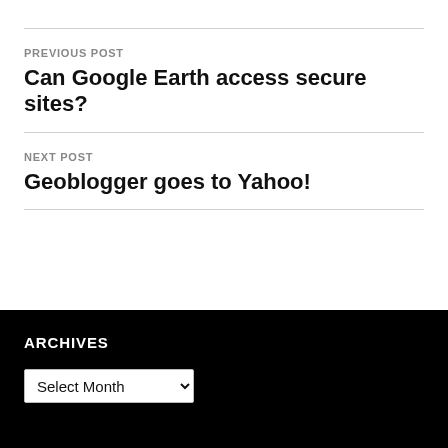PREVIOUS POST
Can Google Earth access secure sites?
NEXT POST
Geoblogger goes to Yahoo!
ARCHIVES